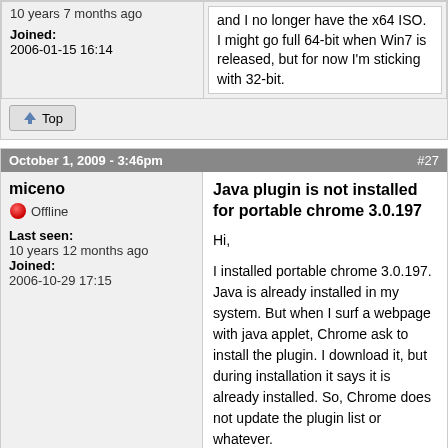10 years 7 months ago
Joined: 2006-01-15 16:14
and I no longer have the x64 ISO. I might go full 64-bit when Win7 is released, but for now I'm sticking with 32-bit.
Top
October 1, 2009 - 3:46pm
#27
miceno
Offline
Last seen: 10 years 12 months ago
Joined: 2006-10-29 17:15
Java plugin is not installed for portable chrome 3.0.197
Hi,

I installed portable chrome 3.0.197. Java is already installed in my system. But when I surf a webpage with java applet, Chrome ask to install the plugin. I download it, but during installation it says it is already installed. So, Chrome does not update the plugin list or whatever.